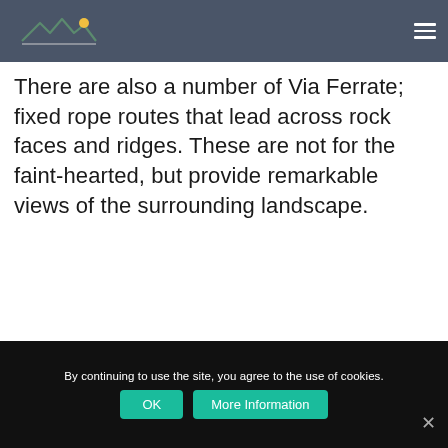TouchingNature.co.uk
There are also a number of Via Ferrate; fixed rope routes that lead across rock faces and ridges. These are not for the faint-hearted, but provide remarkable views of the surrounding landscape.
By continuing to use the site, you agree to the use of cookies.